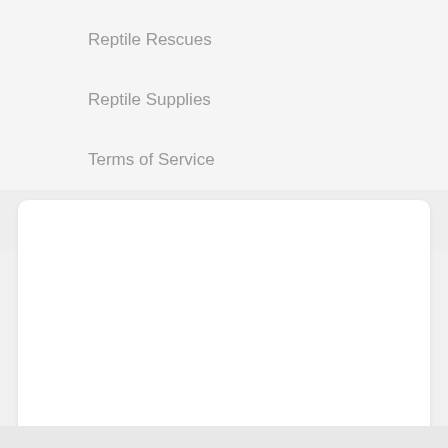Reptile Rescues
Reptile Supplies
Terms of Service
Privacy Policy